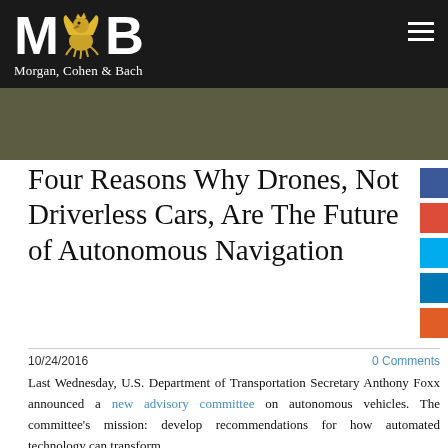Morgan, Cohen & Bach
Four Reasons Why Drones, Not Driverless Cars, Are The Future of Autonomous Navigation
10/24/2016    0 Comments
Last Wednesday, U.S. Department of Transportation Secretary Anthony Foxx announced a new advisory committee on autonomous vehicles. The committee's mission: develop recommendations for how automated technology can transform